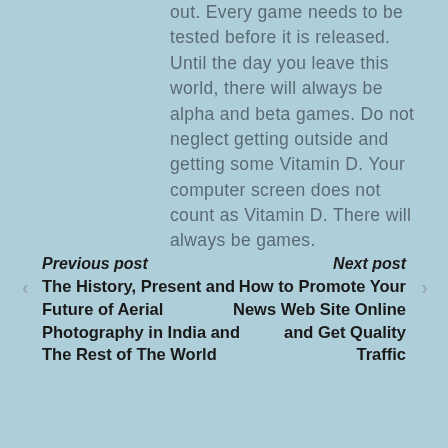out. Every game needs to be tested before it is released. Until the day you leave this world, there will always be alpha and beta games. Do not neglect getting outside and getting some Vitamin D. Your computer screen does not count as Vitamin D. There will always be games.
Previous post
The History, Present and Future of Aerial Photography in India and The Rest of The World
Next post
How to Promote Your News Web Site Online and Get Quality Traffic